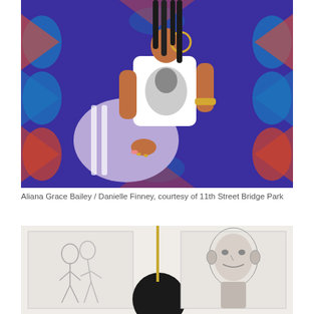[Figure (photo): A young woman with long dark braids and large gold hoop earrings sits posed against a vivid colorful geometric patterned backdrop in blue, red, orange, and teal. She wears a white graphic t-shirt with a black-and-white portrait print and lavender/purple track pants with white stripes. She has gold bracelets and arm jewelry.]
Aliana Grace Bailey / Danielle Finney, courtesy of 11th Street Bridge Park
[Figure (photo): A gallery or exhibition space showing framed artworks including pencil or charcoal drawings. On the left is a sketch of intertwined figures, in the center is a circular black form, and on the right is a detailed portrait of a person's face. A thin gold vertical bar is visible between artworks against a white wall.]